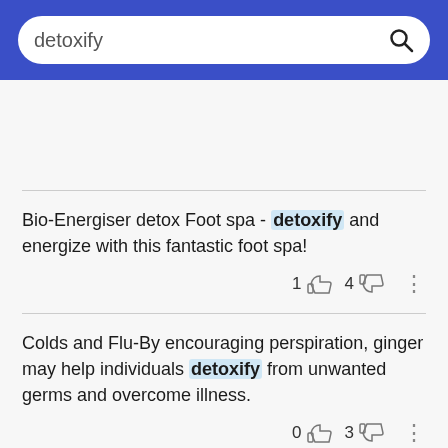[Figure (screenshot): Search bar with blue background showing the query 'detoxify' and a magnifying glass icon]
Bio-Energiser detox Foot spa - detoxify and energize with this fantastic foot spa!
Colds and Flu-By encouraging perspiration, ginger may help individuals detoxify from unwanted germs and overcome illness.